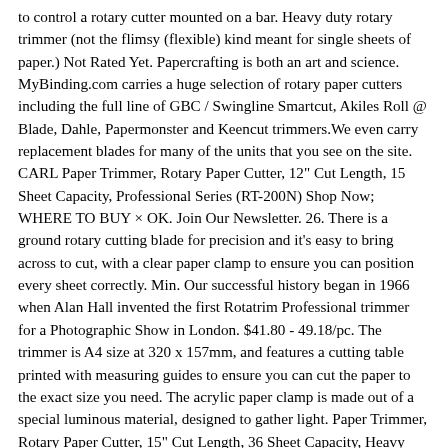to control a rotary cutter mounted on a bar. Heavy duty rotary trimmer (not the flimsy (flexible) kind meant for single sheets of paper.) Not Rated Yet. Papercrafting is both an art and science. MyBinding.com carries a huge selection of rotary paper cutters including the full line of GBC / Swingline Smartcut, Akiles Roll @ Blade, Dahle, Papermonster and Keencut trimmers.We even carry replacement blades for many of the units that you see on the site. CARL Paper Trimmer, Rotary Paper Cutter, 12" Cut Length, 15 Sheet Capacity, Professional Series (RT-200N) Shop Now; WHERE TO BUY × OK. Join Our Newsletter. 26. There is a ground rotary cutting blade for precision and it's easy to bring across to cut, with a clear paper clamp to ensure you can position every sheet correctly. Min. Our successful history began in 1966 when Alan Hall invented the first Rotatrim Professional trimmer for a Photographic Show in London. $41.80 - 49.18/pc. The trimmer is A4 size at 320 x 157mm, and features a cutting table printed with measuring guides to ensure you can cut the paper to the exact size you need. The acrylic paper clamp is made out of a special luminous material, designed to gather light. Paper Trimmer, Rotary Paper Cutter, 15" Cut Length, 36 Sheet Capacity, Heavy Duty Series (DC-220N) Rating Required Select Rating 1 star (worst) 2 stars 3 stars (average) 4 stars 5 stars (best) Brought to you by http://www.MyBinding.com, this video looks at how to choose the right rotary trimmer for your needs. Dahle 554 Professional Rotary Trimmer, 28" Cut Length, 20 Sheet Capacity,